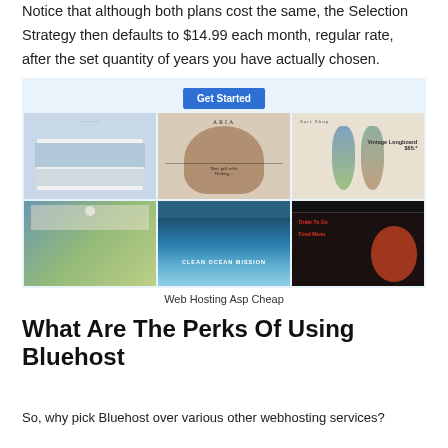Notice that although both plans cost the same, the Selection Strategy then defaults to $14.99 each month, regular rate, after the set quantity of years you have actually chosen.
[Figure (screenshot): A grid of six website template screenshots with a 'Get Started' blue button at the top center, shown on a light blue background. The screenshots show various website designs including a hospitality site, a fashion/hat site (ARIA), a surf shop, a nature/art site, an ocean wave site with 'Clean Ocean Mission' text, and a dark food site.]
Web Hosting Asp Cheap
What Are The Perks Of Using Bluehost
So, why pick Bluehost over various other webhosting services?